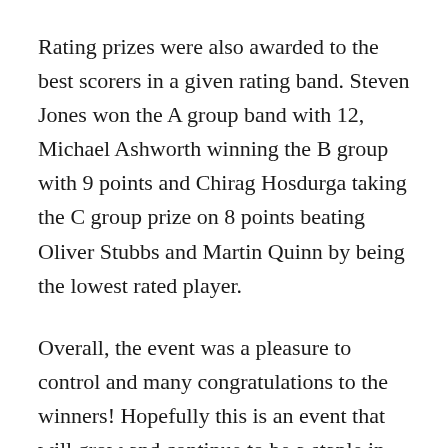Rating prizes were also awarded to the best scorers in a given rating band. Steven Jones won the A group band with 12, Michael Ashworth winning the B group with 9 points and Chirag Hosdurga taking the C group prize on 8 points beating Oliver Stubbs and Martin Quinn by being the lowest rated player.
Overall, the event was a pleasure to control and many congratulations to the winners! Hopefully this is an event that will grow and continue to be a staple in the calendar – however if you can't wait till then, the Bristol Open Blitz Championships are being held on the 25th November. Entry form found here.